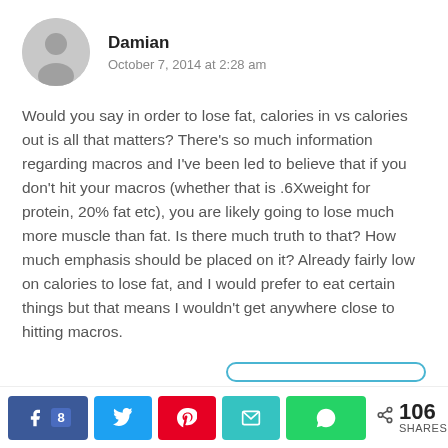[Figure (illustration): Grey circular avatar icon with a generic person silhouette]
Damian
October 7, 2014 at 2:28 am
Would you say in order to lose fat, calories in vs calories out is all that matters? There's so much information regarding macros and I've been led to believe that if you don't hit your macros (whether that is .6Xweight for protein, 20% fat etc), you are likely going to lose much more muscle than fat. Is there much truth to that? How much emphasis should be placed on it? Already fairly low on calories to lose fat, and I would prefer to eat certain things but that means I wouldn't get anywhere close to hitting macros.
[Figure (infographic): Social share bar with Facebook (8 shares), Twitter, Pinterest, Email, WhatsApp buttons and total 106 SHARES]